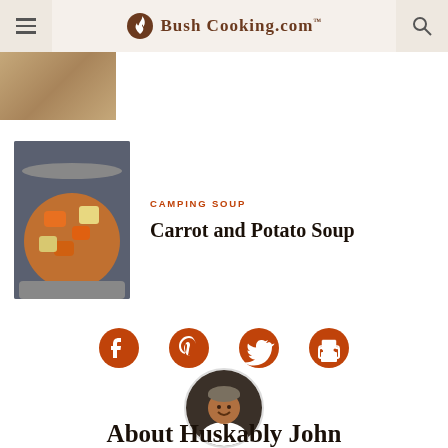Bush Cooking.com
[Figure (photo): Partial view of food image at top, cropped]
[Figure (photo): Bowl of carrot and potato soup in a pot on a stove]
CAMPING SOUP
Carrot and Potato Soup
[Figure (infographic): Social share icons: Facebook, Pinterest, Twitter, Print]
[Figure (photo): Circular profile photo of author smiling, wearing a grey beanie]
About Huskably John